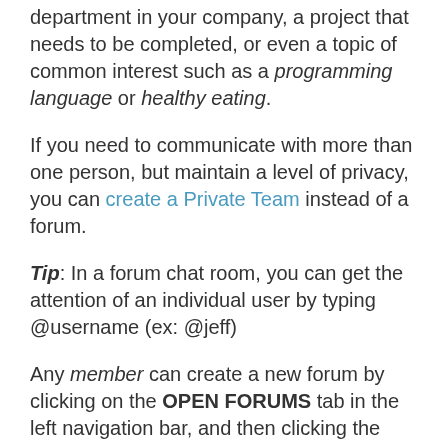department in your company, a project that needs to be completed, or even a topic of common interest such as a programming language or healthy eating.
If you need to communicate with more than one person, but maintain a level of privacy, you can create a Private Team instead of a forum.
Tip: In a forum chat room, you can get the attention of an individual user by typing @username (ex: @jeff)
Any member can create a new forum by clicking on the OPEN FORUMS tab in the left navigation bar, and then clicking the Create F...